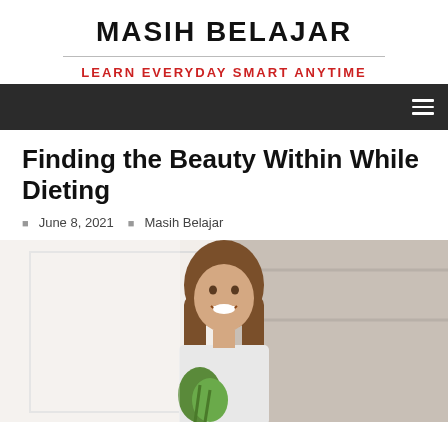MASIH BELAJAR
LEARN EVERYDAY SMART ANYTIME
Finding the Beauty Within While Dieting
June 8, 2021   Masih Belajar
[Figure (photo): Smiling woman with long brown hair holding fresh vegetables/herbs, in a bright kitchen setting]